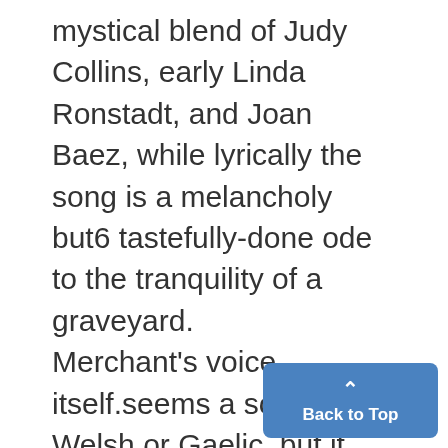mystical blend of Judy Collins, early Linda Ronstadt, and Joan Baez, while lyrically the song is a melancholy but6 tastefully-done ode to the tranquility of a graveyard. Merchant's voice itself.seems a sort of Welsh or Gaelic, but it purely stylistic as she, and the band, are all from New York. This characteristic inflection isteven more defined on "Among the Indians," another4 testament of songwriting ability as the sad lament of the American dian. It is thoughtfully told and